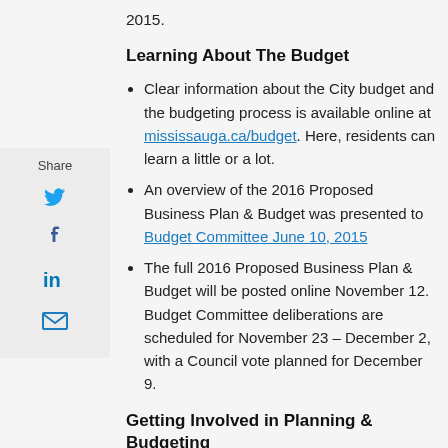2015.
Learning About The Budget
Clear information about the City budget and the budgeting process is available online at mississauga.ca/budget. Here, residents can learn a little or a lot.
An overview of the 2016 Proposed Business Plan & Budget was presented to Budget Committee June 10, 2015
The full 2016 Proposed Business Plan & Budget will be posted online November 12. Budget Committee deliberations are scheduled for November 23 – December 2, with a Council vote planned for December 9.
Getting Involved in Planning & Budgeting